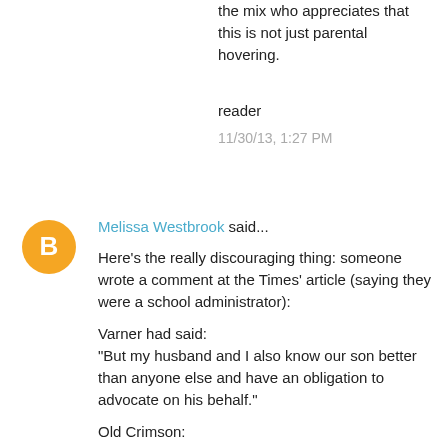the mix who appreciates that this is not just parental hovering.
reader
11/30/13, 1:27 PM
[Figure (illustration): Orange circular Blogger avatar icon with white 'B' letter]
Melissa Westbrook said...
Here's the really discouraging thing: someone wrote a comment at the Times' article (saying they were a school administrator):

Varner had said:
"But my husband and I also know our son better than anyone else and have an obligation to advocate on his behalf."

Old Crimson:
As a school administrator, I would say this precise quote belies so much of the problem. The reality, Ms.Varner, is that you do not know your child, in the context of school, better than we do.